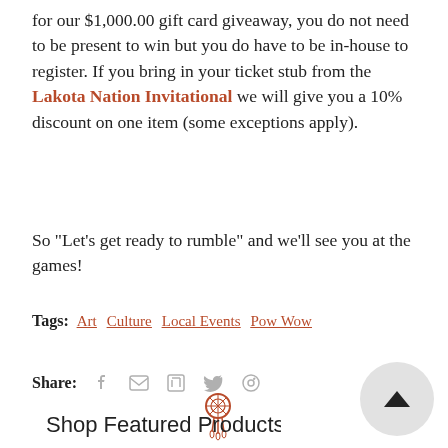for our $1,000.00 gift card giveaway, you do not need to be present to win but you do have to be in-house to register. If you bring in your ticket stub from the Lakota Nation Invitational we will give you a 10% discount on one item (some exceptions apply).
So "Let's get ready to rumble" and we'll see you at the games!
Tags: Art  Culture  Local Events  Pow Wow
Share:
[Figure (illustration): Dreamcatcher icon in red/orange color]
Shop Featured Products